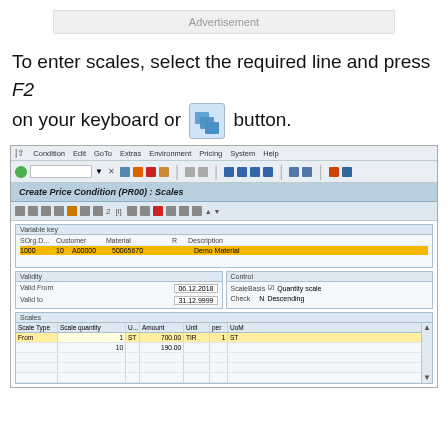Advertisement
To enter scales, select the required line and press F2 on your keyboard or [icon] button.
[Figure (screenshot): SAP screen showing Create Price Condition (PR00): Scales dialog with Variable key section showing SOrg=1000, Customer=10, A00000, Material=50065670, Description=Demo Material. Validity section: Valid From 06.12.2018, Valid to 31.12.9999. Control section: ScaleBasis = Quantity scale, Check = Descending. Scales grid with columns: Scale Type, Scale quantity, U..., Amount, Unit, per, UoM. Row 1 (highlighted): From, 1, ST, 700.00, TIR, 1, ST. Row 2: 10, 190.00]